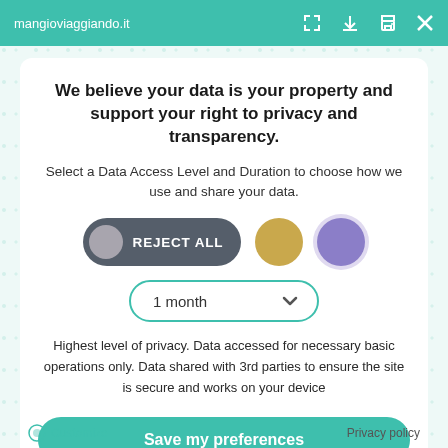mangioviaggiando.it
We believe your data is your property and support your right to privacy and transparency.
Select a Data Access Level and Duration to choose how we use and share your data.
[Figure (infographic): Three consent option buttons: a dark pill-shaped 'REJECT ALL' button with grey circle icon, a gold circle button, and a purple circle button]
[Figure (infographic): Dropdown selector showing '1 month' with a chevron arrow, styled with teal border]
Highest level of privacy. Data accessed for necessary basic operations only. Data shared with 3rd parties to ensure the site is secure and works on your device
Save my preferences
Customize
Privacy policy